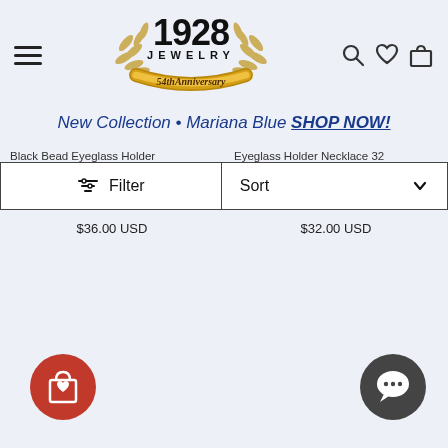[Figure (logo): 1928 Jewelry 54th Anniversary logo with golden laurel wreath, gold crown/arch design]
New Collection • Mariana Blue SHOP NOW!
Black Bead Eyeglass Holder
Eyeglass Holder Necklace 32
Filter
Sort
$36.00 USD
$32.00 USD
[Figure (illustration): Red circular floating action button with shopping bag and heart icon]
[Figure (illustration): Dark gray circular floating action button with chat/message bubble icon]